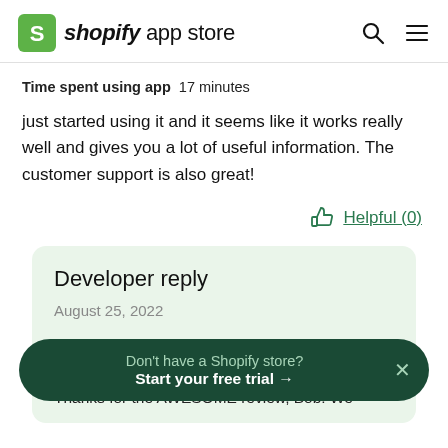shopify app store
Time spent using app  17 minutes
just started using it and it seems like it works really well and gives you a lot of useful information. The customer support is also great!
Helpful (0)
Developer reply
August 25, 2022
Don't have a Shopify store?
Start your free trial →
Thanks for the AWESOME review, Bob! We